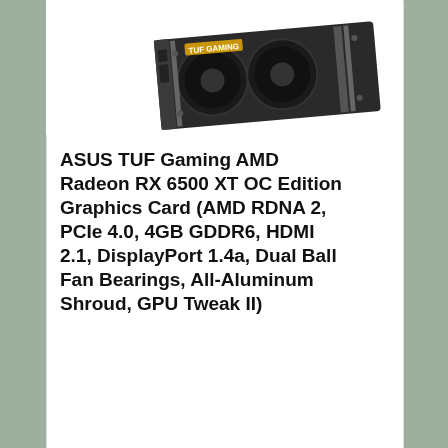[Figure (photo): Partial view of ASUS TUF Gaming AMD Radeon RX 6500 XT graphics card shown from top-left, cropped at top of page]
ASUS TUF Gaming AMD Radeon RX 6500 XT OC Edition Graphics Card (AMD RDNA 2, PCIe 4.0, 4GB GDDR6, HDMI 2.1, DisplayPort 1.4a, Dual Ball Fan Bearings, All-Aluminum Shroud, GPU Tweak II)
View Product
The necessity to
buy dual ball metal